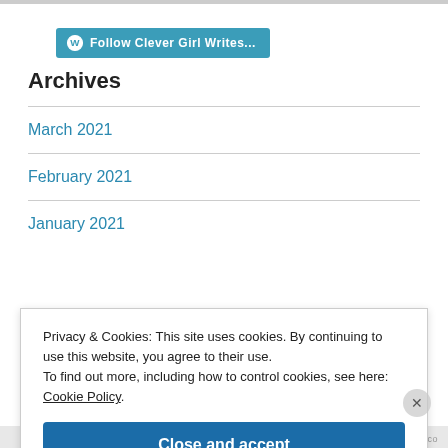[Figure (logo): WordPress Follow button: 'Follow Clever Girl Writes...' in teal/blue rounded button with WordPress logo]
Archives
March 2021
February 2021
January 2021
Privacy & Cookies: This site uses cookies. By continuing to use this website, you agree to their use. To find out more, including how to control cookies, see here: Cookie Policy.
Close and accept